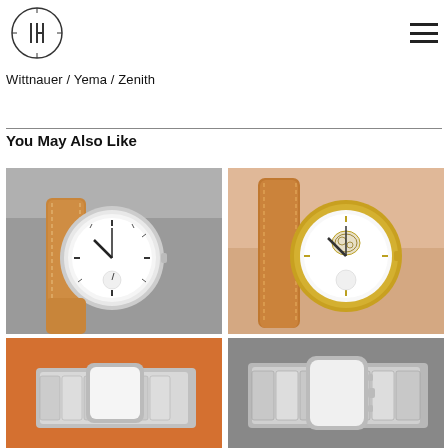IH logo and hamburger menu
Wittnauer / Yema / Zenith
You May Also Like
[Figure (photo): Close-up of a dress watch with white dial, small seconds subdial, and tan leather strap on a grey surface next to a mesh bracelet]
[Figure (photo): Close-up of a dress watch with open heart complication, white dial, gold case, and tan leather strap worn on a wrist]
[Figure (photo): Partial view of a silver watch with orange accents and bracelet]
[Figure (photo): Partial view of a silver chronograph-style watch with bracelet on grey surface]